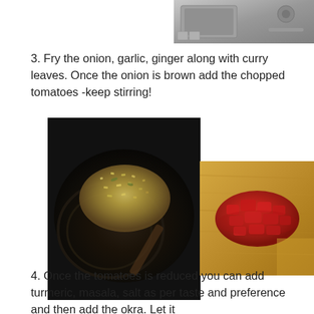[Figure (photo): Partial view of a stove top, top-right corner of page]
3. Fry the onion, garlic, ginger along with curry leaves. Once the onion is brown add the chopped tomatoes -keep stirring!
[Figure (photo): A dark wok/pan with fried chopped onion, garlic, ginger and curry leaves being stir-fried]
[Figure (photo): Chopped red tomatoes on a wooden cutting board]
4. Once the tomatoes is reduced you can add turmeric, masala, salt as per taste and preference and then add the okra. Let it cook for 5 mins then reduce heat to cook on slow.